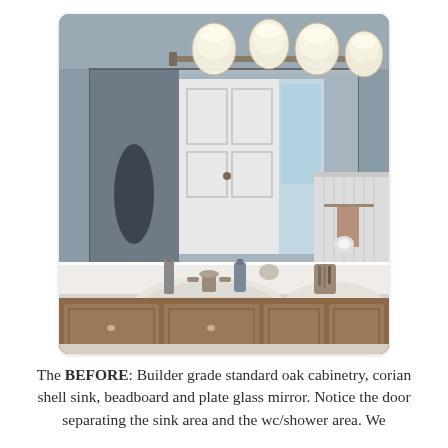[Figure (photo): Bathroom 'before' photo showing builder grade standard oak cabinetry, a white corian shell sink with chrome faucet, a large plate glass mirror above the vanity, a light bar with multiple globe-style lights mounted above the mirror, beadboard wainscoting on the right wall, and a door visible in the mirror reflection separating the sink area and the wc/shower area.]
The BEFORE: Builder grade standard oak cabinetry, corian shell sink, beadboard and plate glass mirror. Notice the door separating the sink area and the wc/shower area. We